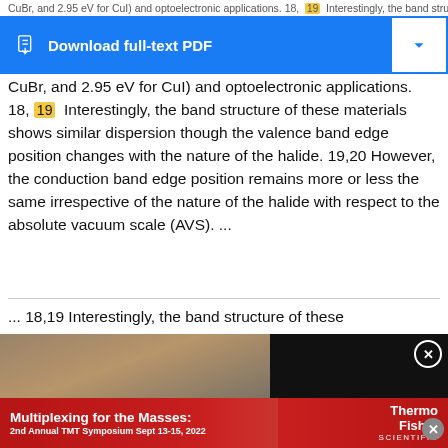CuBr, and 2.95 eV for CuI) and optoelectronic applications. 18, 19 Interestingly, the band structure of these materials shows similar dispersion though the valence band edge position changes with the nature of the halide. 19,20 However, the conduction band edge position remains more or less the same irrespective of the nature of the halide with respect to the absolute vacuum scale (AVS). ...
[Figure (screenshot): Download full-text PDF button (blue) with dropdown arrow, overlaid on partial text about CuBr, CuI band gaps]
CuBr, and 2.95 eV for CuI) and optoelectronic applications. 18, 19 Interestingly, the band structure of these materials shows similar dispersion though the valence band edge position changes with the nature of the halide. 19,20 However, the conduction band edge position remains more or less the same irrespective of the nature of the halide with respect to the absolute vacuum scale (AVS). ...
... 18,19 Interestingly, the band structure of these
[Figure (screenshot): Video advertisement overlay: 'Are marketing budgets on autopilot?' with video thumbnail showing people in office setting and close button]
halides and some of the copper oxide based materials (such as Cu 2 O and CuO), CuCl has a more stabilized valence band, which is certainly promising for the water
[Figure (screenshot): Bottom banner advertisement: 'Multiplexing for the Masses: 2nd Annual TMT Symposium Sept 13-15, 2022' by Thermo Fisher Scientific]